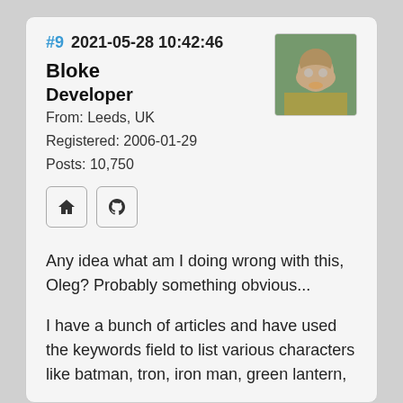#9  2021-05-28 10:42:46
Bloke
Developer
From: Leeds, UK
Registered: 2006-01-29
Posts: 10,750
[Figure (photo): Avatar photo of forum user Bloke, appears to be an older man outdoors]
Any idea what am I doing wrong with this, Oleg? Probably something obvious...
I have a bunch of articles and have used the keywords field to list various characters like batman, tron, iron man, green lantern, ...
On a fresh install in my archive Page template if I change the if_article_list_article